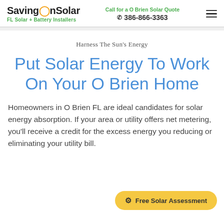SavingOnSolar — FL Solar + Battery Installers | Call for a O Brien Solar Quote | 386-866-3363
Harness The Sun's Energy
Put Solar Energy To Work On Your O Brien Home
Homeowners in O Brien FL are ideal candidates for solar energy absorption. If your area or utility offers net metering, you'll receive a credit for the excess energy you reducing or eliminating your utility bill.
Free Solar Assessment